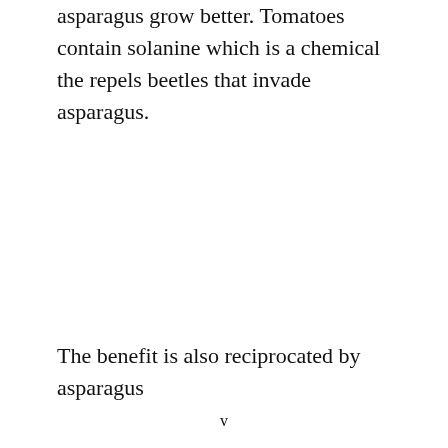asparagus grow better. Tomatoes contain solanine which is a chemical the repels beetles that invade asparagus.
The benefit is also reciprocated by asparagus
v